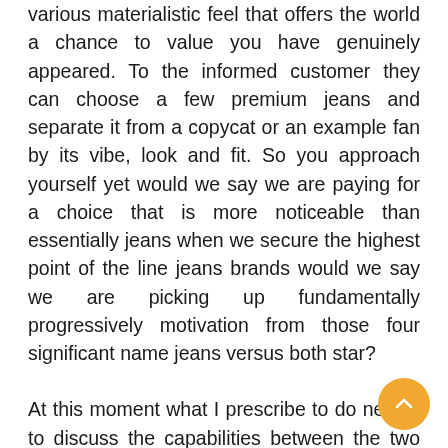various materialistic feel that offers the world a chance to value you have genuinely appeared. To the informed customer they can choose a few premium jeans and separate it from a copycat or an example fan by its vibe, look and fit. So you approach yourself yet would we say we are paying for a choice that is more noticeable than essentially jeans when we secure the highest point of the line jeans brands would we say we are picking up fundamentally progressively motivation from those four significant name jeans versus both star?
At this moment what I prescribe to do next is to discuss the capabilities between the two star jeans and the four or 6 star jeans cost centers. Here are at any rate a few the remarkable features that seclude 'Best in class from the greater part some maybe refined while others are extra unfathomable. The